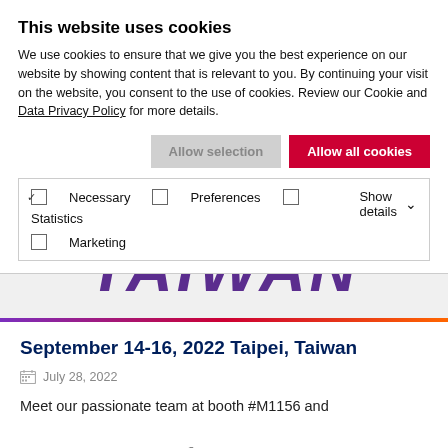This website uses cookies
We use cookies to ensure that we give you the best experience on our website by showing content that is relevant to you. By continuing your visit on the website, you consent to the use of cookies. Review our Cookie and Data Privacy Policy for more details.
Allow selection | Allow all cookies
✓ Necessary  ☐ Preferences  ☐ Statistics  ☐ Marketing  Show details ∨
[Figure (photo): Large bold purple italic text reading TAIWAN on a light grey background, part of an exhibition banner]
September 14-16, 2022 Taipei, Taiwan
July 28, 2022
Meet our passionate team at booth #M1156 and discover our new Synertia® RF Power Delivery Platform.